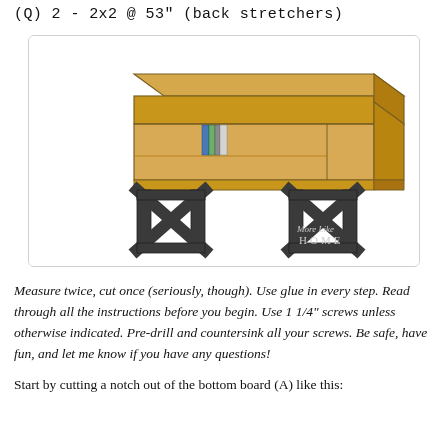(Q)  2  -  2x2  @  53"  (back stretchers)
[Figure (illustration): 3D sketch/illustration of a wooden desk or bench with a storage box top and dark X-shaped metal legs, with books visible inside. Watermark reading 'More Like HOME' in bottom right corner.]
Measure twice, cut once (seriously, though). Use glue in every step. Read through all the instructions before you begin. Use 1 1/4" screws unless otherwise indicated. Pre-drill and countersink all your screws. Be safe, have fun, and let me know if you have any questions!
Start by cutting a notch out of the bottom board (A) like this: